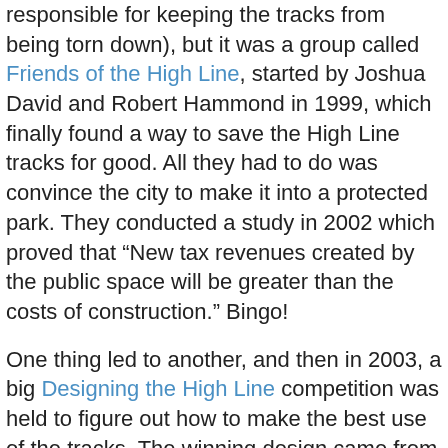responsible for keeping the tracks from being torn down), but it was a group called Friends of the High Line, started by Joshua David and Robert Hammond in 1999, which finally found a way to save the High Line tracks for good. All they had to do was convince the city to make it into a protected park. They conducted a study in 2002 which proved that “New tax revenues created by the public space will be greater than the costs of construction.” Bingo!
One thing led to another, and then in 2003, a big Designing the High Line competition was held to figure out how to make the best use of the tracks. The winning design came from by James Corner Field Operations and Diller Scofidio + Renfro. Their orginal designs were displayed at MoMa in 2005, and you can view the final designs here.
Completion is finally underway, and the first section, running from Gansevoort Street to 20th Street, opened last month to the public! What’s it like? Well, it’s certainly unlike any park